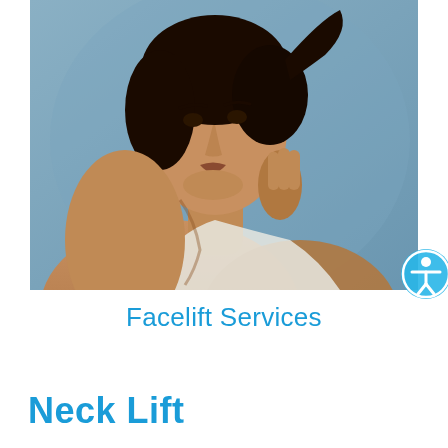[Figure (photo): A young woman with short dark hair touching her neck/collarbone area against a blue-grey background, wearing a white top. The image is used to illustrate facelift/neck lift cosmetic surgery services.]
Facelift Services
Neck Lift